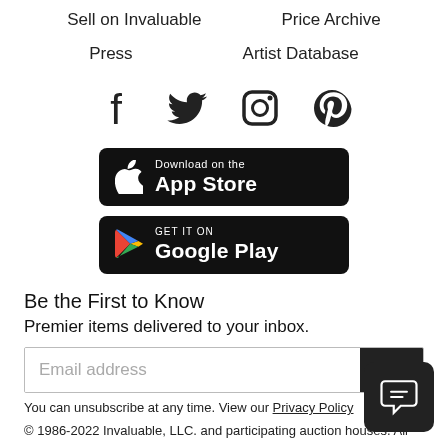Sell on Invaluable    Price Archive
Press    Artist Database
[Figure (infographic): Social media icons: Facebook, Twitter, Instagram, Pinterest]
[Figure (infographic): Download on the App Store button (black rounded rectangle with Apple logo)]
[Figure (infographic): GET IT ON Google Play button (black rounded rectangle with Google Play triangle logo)]
Be the First to Know
Premier items delivered to your inbox.
Email address
Si
You can unsubscribe at any time. View our Privacy Policy
© 1986-2022 Invaluable, LLC. and participating auction houses. All